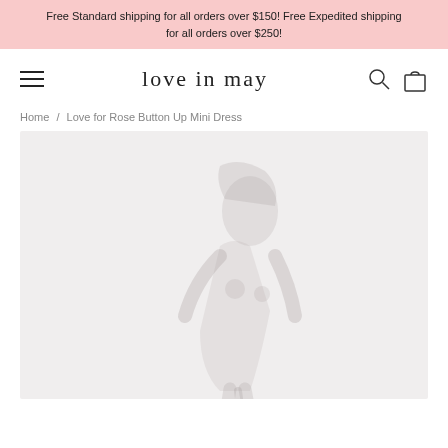Free Standard shipping for all orders over $150! Free Expedited shipping for all orders over $250!
[Figure (logo): Love in May brand logo with hamburger menu icon, search icon, and shopping bag icon in navigation bar]
Home / Love for Rose Button Up Mini Dress
[Figure (photo): Product loading placeholder — light grey rectangle with faint watermark-style silhouette of a person/dress in the center]